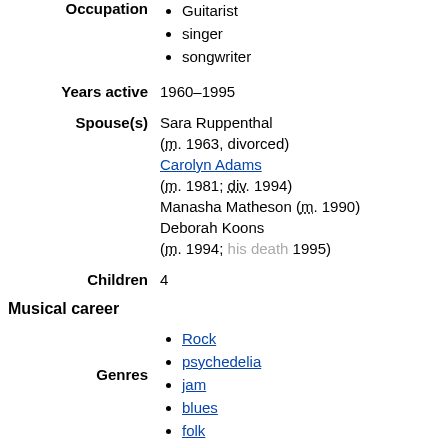Guitarist
singer
songwriter
Years active: 1960–1995
Spouse(s): Sara Ruppenthal (m. 1963, divorced); Carolyn Adams (m. 1981; div. 1994); Manasha Matheson (m. 1990); Deborah Koons (m. 1994; his death 1995)
Children: 4
Musical career
Rock
psychedelia
jam
blues
folk
jazz
country
bluegrass
rock and roll